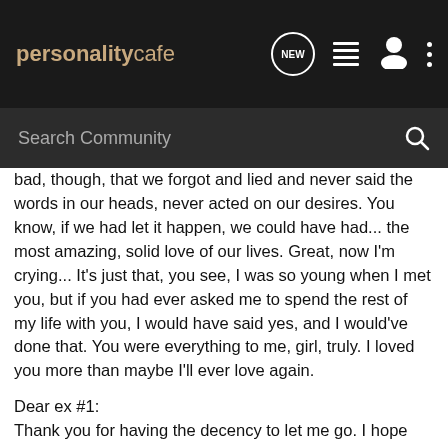personalitycafe [NEW] [list icon] [person icon] [more icon]
Search Community
bad, though, that we forgot and lied and never said the words in our heads, never acted on our desires. You know, if we had let it happen, we could have had... the most amazing, solid love of our lives. Great, now I'm crying... It's just that, you see, I was so young when I met you, but if you had ever asked me to spend the rest of my life with you, I would have said yes, and I would've done that. You were everything to me, girl, truly. I loved you more than maybe I'll ever love again.
Dear ex #1:
Thank you for having the decency to let me go. I hope someday, you will be well and you will have a love that's good for you. But don't come 'round here, because I might punch you in the face.
Dear ex #2: